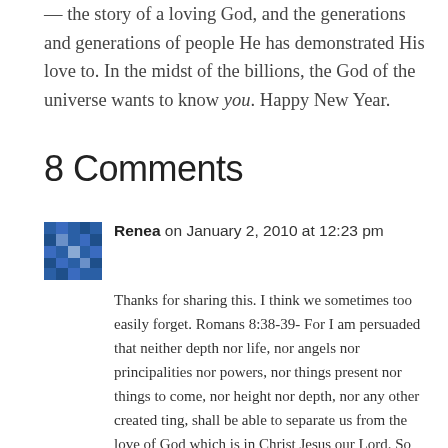— the story of a loving God, and the generations and generations of people He has demonstrated His love to. In the midst of the billions, the God of the universe wants to know you. Happy New Year.
8 Comments
Renea on January 2, 2010 at 12:23 pm
Thanks for sharing this. I think we sometimes too easily forget. Romans 8:38-39- For I am persuaded that neither depth nor life, nor angels nor principalities nor powers, nor things present nor things to come, nor height nor depth, nor any other created ting, shall be able to separate us from the love of God which is in Christ Jesus our Lord. So glad that God is giving us both a fresh revelation of His love and